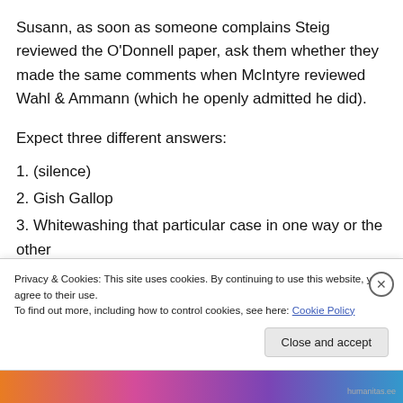Susann, as soon as someone complains Steig reviewed the O'Donnell paper, ask them whether they made the same comments when McIntyre reviewed Wahl & Ammann (which he openly admitted he did).
Expect three different answers:
1. (silence)
2. Gish Gallop
3. Whitewashing that particular case in one way or the other
Privacy & Cookies: This site uses cookies. By continuing to use this website, you agree to their use. To find out more, including how to control cookies, see here: Cookie Policy
Close and accept